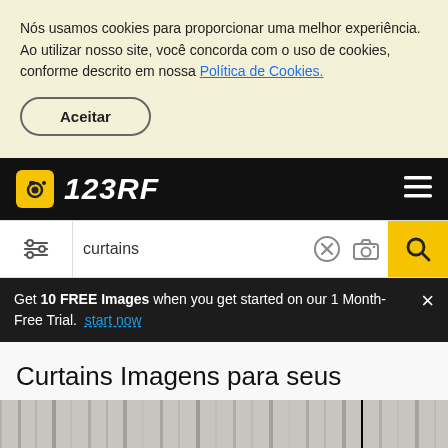Nós usamos cookies para proporcionar uma melhor experiência. Ao utilizar nosso site, você concorda com o uso de cookies, conforme descrito em nossa Política de Cookies.
Aceitar
[Figure (logo): 123RF logo with camera icon on black navigation bar]
[Figure (screenshot): Search bar with filter icon, 'curtains' text, clear (X) button, camera icon, and yellow search button]
Get 10 FREE Images when you get started on our 1 Month-Free Trial. start now
Curtains Imagens para seus Projetos Criativos
[Figure (photo): Partial view of curtains image at the bottom of the page]